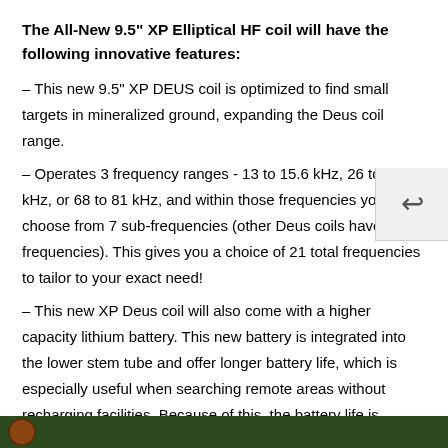The All-New 9.5" XP Elliptical HF coil will have the following innovative features:
– This new 9.5" XP DEUS coil is optimized to find small targets in mineralized ground, expanding the Deus coil range.
– Operates 3 frequency ranges - 13 to 15.6 kHz, 26 to 31 kHz, or 68 to 81 kHz, and within those frequencies you can choose from 7 sub-frequencies (other Deus coils have 3 sub frequencies). This gives you a choice of 21 total frequencies to tailor to your exact need!
– This new XP Deus coil will also come with a higher capacity lithium battery. This new battery is integrated into the lower stem tube and offer longer battery life, which is especially useful when searching remote areas without recharging facilities. Because of this, the battery life is improved - up to 20 hours using 15 kHz, up to 27h at 30 kHz, and up to 28h at 81 kHz
[Figure (photo): Dark green background strip at bottom of page with a circular brown/orange logo element on the left]